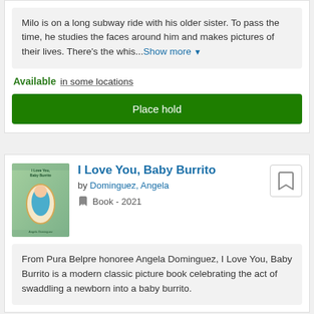Milo is on a long subway ride with his older sister. To pass the time, he studies the faces around him and makes pictures of their lives. There's the whis...Show more
Available in some locations
Place hold
I Love You, Baby Burrito
by Dominguez, Angela
Book - 2021
From Pura Belpre honoree Angela Dominguez, I Love You, Baby Burrito is a modern classic picture book celebrating the act of swaddling a newborn into a baby burrito.